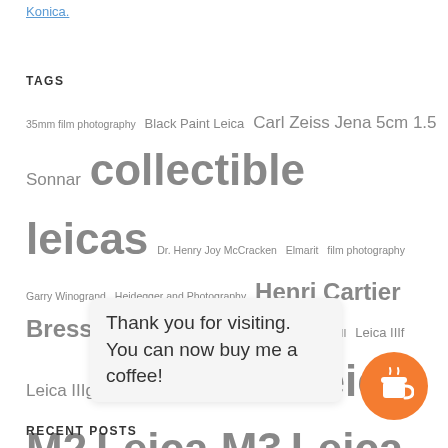Konica.
TAGS
35mm film photography Black Paint Leica Carl Zeiss Jena 5cm 1.5 Sonnar collectible leicas Dr. Henry Joy McCracken Elmarit film photography Garry Winogrand Heidegger and Photography Henri Cartier Bresson leica Leicaflex Leicaflex SL Leica III Leica IIIf Leica IIIg Leica M Leica M-A Leica M2 Leica M3 Leica M4 Leica M5 Leica M6 Leica M8 Leica Monochrom Leica MP Leica Mystique Leica Rangefinder Leica selfie Nikkor LTM Nikon S3 Nikon SP Noctilux robert frank... Tele-Elmarit tim eggleston
Thank you for visiting. You can now buy me a coffee!
RECENT POSTS